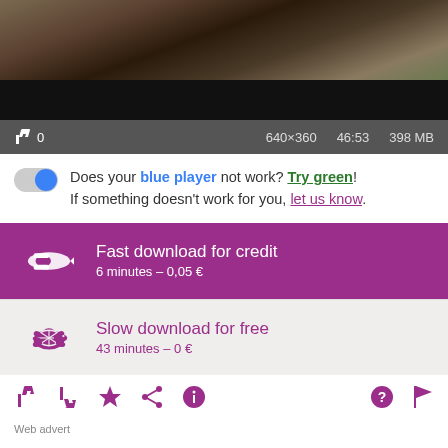[Figure (screenshot): Video player thumbnail showing people in military/outdoor scene, with black letterbox area below image]
👍 0   640×360   46:53   398 MB
Does your blue player not work? Try green! If something doesn't work for you, let us know.
[Figure (infographic): Fast download for credit button - magenta background with shuttle/rocket icon. Text: Fast download for credit, 6 minutes – 0,05 €]
[Figure (infographic): Slow download for free button - light gray background with turtle icon. Text: Slow download for free, 43 minutes – 0 €]
Action icons: thumbs up, thumbs down, star, share, info, question, flag
Web advert